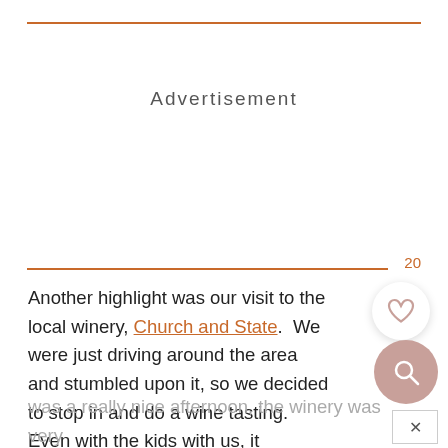Advertisement
20
Another highlight was our visit to the local winery, Church and State. We were just driving around the area and stumbled upon it, so we decided to stop in and do a wine tasting. Even with the kids with us, it was a really nice afternoon, the winery was very accommodating and welcoming of our kids which was